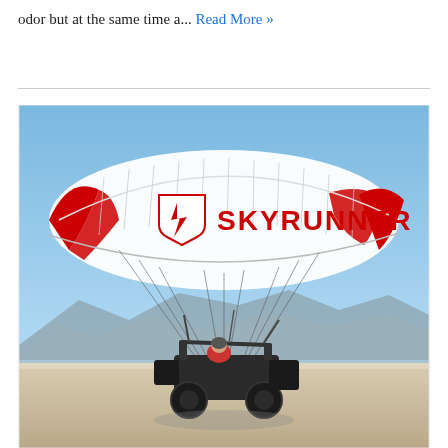odor but at the same time a... Read More »
[Figure (photo): A Skyrunner parachute buggy vehicle in flight or landing on a flat desert surface. The large red and white parachute canopy has the Skyrunner logo and branding. Blue sky and mountains visible in background.]